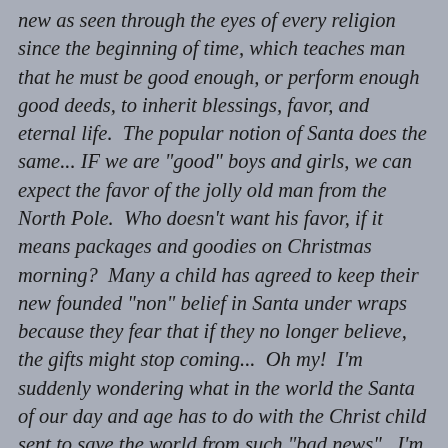new as seen through the eyes of every religion since the beginning of time, which teaches man that he must be good enough, or perform enough good deeds, to inherit blessings, favor, and eternal life.  The popular notion of Santa does the same... IF we are "good" boys and girls, we can expect the favor of the jolly old man from the North Pole.  Who doesn't want his favor, if it means packages and goodies on Christmas morning?  Many a child has agreed to keep their new founded "non" belief in Santa under wraps because they fear that if they no longer believe, the gifts might stop coming...  Oh my!  I'm suddenly wondering what in the world the Santa of our day and age has to do with the Christ child sent to save the world from such "bad news".  I'm suddenly not so worried that when they discover that I've been lying about Santa, maybe I'd been lying about Jesus' too!  Instead, I'm worried that I might convince them that they can somehow be good enough this year to obtain favor of any kind.  The message from the manger to the cross was that we could NOT be good enough to obtain anything close to the favor of God...